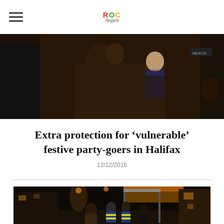ROC Angels
[Figure (photo): Group of people at a festival or event, including a person with dreadlocks and a person in clergy clothing pointing, nighttime crowd scene]
Extra protection for ‘vulnerable’ festive party-goers in Halifax
12/12/2016
[Figure (photo): Nighttime street scene in Halifax town centre with people in high-visibility jackets walking along the pavement near a bus stop, warm orange lighting]